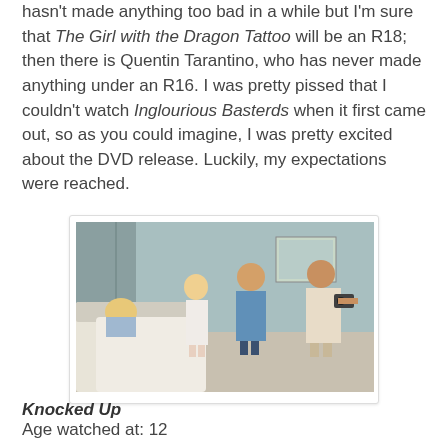hasn't made anything too bad in a while but I'm sure that The Girl with the Dragon Tattoo will be an R18; then there is Quentin Tarantino, who has never made anything under an R16. I was pretty pissed that I couldn't watch Inglourious Basterds when it first came out, so as you could imagine, I was pretty excited about the DVD release. Luckily, my expectations were reached.
[Figure (photo): Movie still from Knocked Up showing a woman in a hospital bed and three people standing around her in a hospital room.]
Knocked Up
Age watched at: 12
As I said, I love gross-out comedies. Judd Apatow was at his best when he made Knocked Up, the hilarious pregnancy